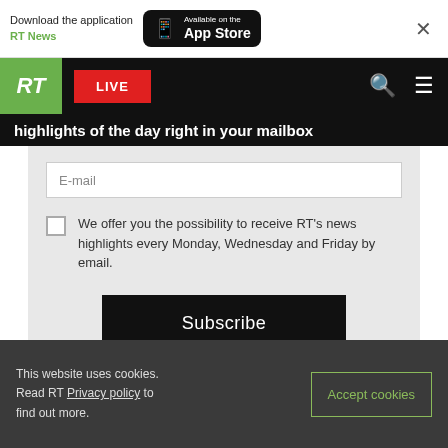[Figure (screenshot): App download banner with RT News logo and App Store button]
[Figure (screenshot): RT navigation bar with green RT logo, red LIVE button, search and menu icons]
highlights of the day right in your mailbox
E-mail
We offer you the possibility to receive RT's news highlights every Monday, Wednesday and Friday by email.
Subscribe
This website uses cookies. Read RT Privacy policy to find out more.
Accept cookies